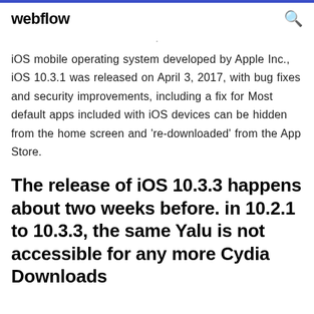webflow
iOS mobile operating system developed by Apple Inc., iOS 10.3.1 was released on April 3, 2017, with bug fixes and security improvements, including a fix for Most default apps included with iOS devices can be hidden from the home screen and 're-downloaded' from the App Store.
The release of iOS 10.3.3 happens about two weeks before. in 10.2.1 to 10.3.3, the same Yalu is not accessible for any more Cydia Downloads